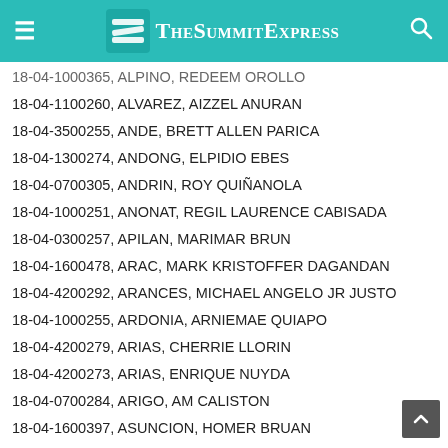TheSummitExpress
18-04-1000365, ALPINO, REDEEM OROLLO
18-04-1100260, ALVAREZ, AIZZEL ANURAN
18-04-3500255, ANDE, BRETT ALLEN PARICA
18-04-1300274, ANDONG, ELPIDIO EBES
18-04-0700305, ANDRIN, ROY QUIÑANOLA
18-04-1000251, ANONAT, REGIL LAURENCE CABISADA
18-04-0300257, APILAN, MARIMAR BRUN
18-04-1600478, ARAC, MARK KRISTOFFER DAGANDAN
18-04-4200292, ARANCES, MICHAEL ANGELO JR JUSTO
18-04-1000255, ARDONIA, ARNIEMAE QUIAPO
18-04-4200279, ARIAS, CHERRIE LLORIN
18-04-4200273, ARIAS, ENRIQUE NUYDA
18-04-0700284, ARIGO, AM CALISTON
18-04-1600397, ASUNCION, HOMER BRUAN
18-04-1300300, ATMA, MOISES EWAY
18-04-4200253, AURINO, CAREEN MISA
18-04-1700259, AVANCEÑA, NORZEALITO REGAÑA